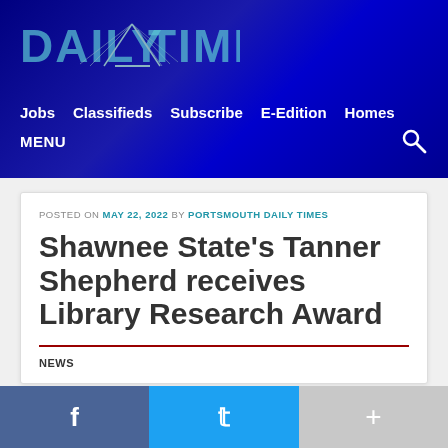Daily Times — Jobs  Classifieds  Subscribe  E-Edition  Homes  MENU
POSTED ON MAY 22, 2022 BY PORTSMOUTH DAILY TIMES
Shawnee State's Tanner Shepherd receives Library Research Award
NEWS